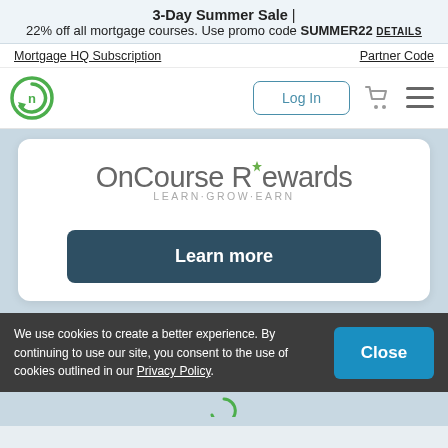3-Day Summer Sale | 22% off all mortgage courses. Use promo code SUMMER22 DETAILS
Mortgage HQ Subscription    Partner Code
[Figure (logo): OnCourse Learning logo - green circular arrow icon]
Log In
[Figure (illustration): OnCourse Rewards - LEARN·GROW·EARN banner with Learn more button]
We use cookies to create a better experience. By continuing to use our site, you consent to the use of cookies outlined in our Privacy Policy.